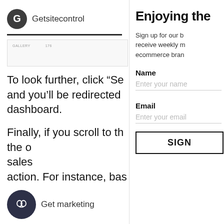Getsitecontrol
[Figure (screenshot): Dashboard screenshot preview with column headers]
To look further, click “Se and you’ll be redirected dashboard.
Finally, if you scroll to th the or sales action. For instance, bas
[Figure (logo): Dark circular brain icon with text: Get marketing]
Enjoying the
Sign up for our b receive weekly m ecommerce bran
Name
Enter your name
Email
Enter your email
SIGN